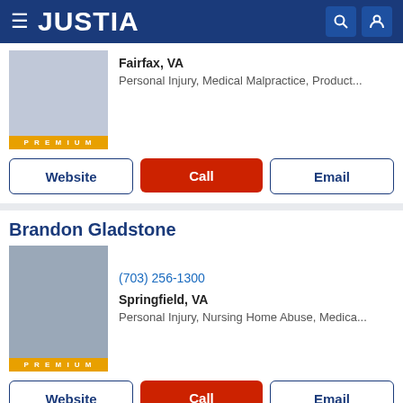JUSTIA
Fairfax, VA
Personal Injury, Medical Malpractice, Product...
Website | Call | Email
Brandon Gladstone
(703) 256-1300
Springfield, VA
Personal Injury, Nursing Home Abuse, Medica...
Website | Call | Email
Faraji A. Rosenthall